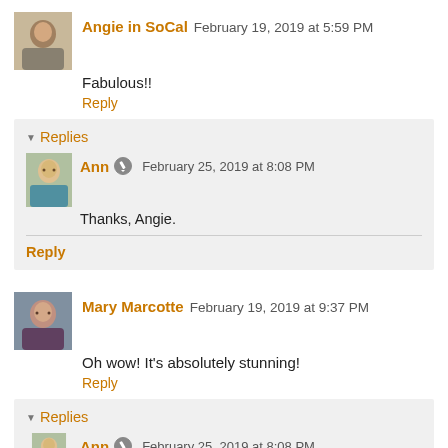Angie in SoCal  February 19, 2019 at 5:59 PM
Fabulous!!
Reply
Replies
Ann  February 25, 2019 at 8:08 PM
Thanks, Angie.
Reply
Mary Marcotte  February 19, 2019 at 9:37 PM
Oh wow! It's absolutely stunning!
Reply
Replies
Ann  February 25, 2019 at 8:08 PM